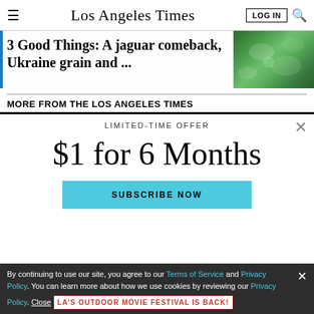Los Angeles Times
3 Good Things: A jaguar comeback, Ukraine grain and ...
MORE FROM THE LOS ANGELES TIMES
LIMITED-TIME OFFER
$1 for 6 Months
SUBSCRIBE NOW
By continuing to use our site, you agree to our Terms of Service and Privacy Policy. You can learn more about how we use cookies by reviewing our Privacy Policy. Close
LA'S OUTDOOR MOVIE FESTIVAL IS BACK!